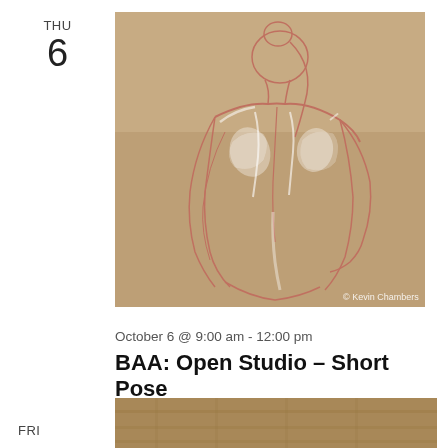THU
6
[Figure (illustration): Red and white chalk figure drawing of a nude woman viewed from behind on tan/brown paper, showing muscular back detail. Watermark reads '© Kevin Chambers' in lower right corner.]
October 6 @ 9:00 am - 12:00 pm
BAA: Open Studio – Short Pose
The Booth Art Academy @ TRC 1 N. Gilmer ST, Cartersville, GA
FRI